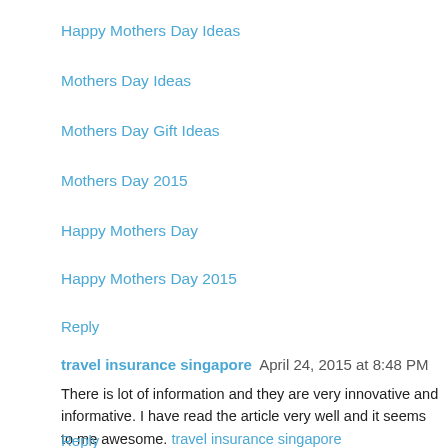Happy Mothers Day Ideas
Mothers Day Ideas
Mothers Day Gift Ideas
Mothers Day 2015
Happy Mothers Day
Happy Mothers Day 2015
Reply
travel insurance singapore  April 24, 2015 at 8:48 PM
There is lot of information and they are very innovative and informative. I have read the article very well and it seems to me awesome. travel insurance singapore
Reply